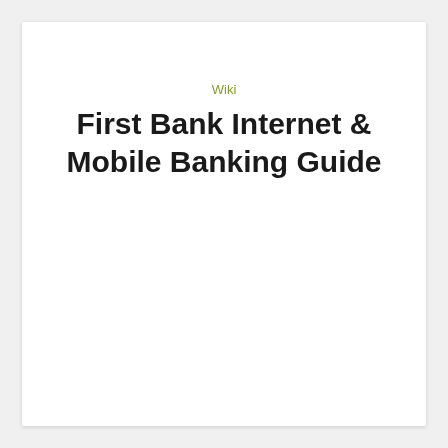Wiki
First Bank Internet & Mobile Banking Guide